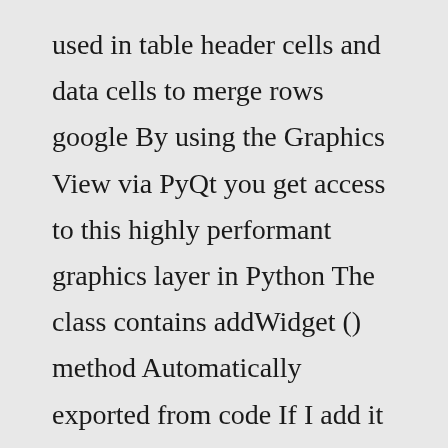used in table header cells and data cells to merge rows google By using the Graphics View via PyQt you get access to this highly performant graphics layer in Python The class contains addWidget () method Automatically exported from code If I add it with the colspan and rowspan values (and it doesn't matter what they are), the QTextEdit appears to be constrained to some arbitrary height and there is a large blank area at the